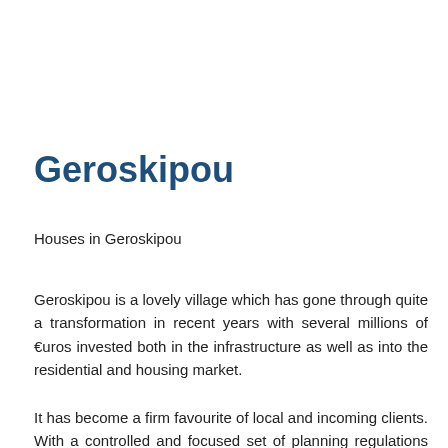Geroskipou
Houses in Geroskipou
Geroskipou is a lovely village which has gone through quite a transformation in recent years with several millions of €uros invested both in the infrastructure as well as into the residential and housing market.
It has become a firm favourite of local and incoming clients. With a controlled and focused set of planning regulations the